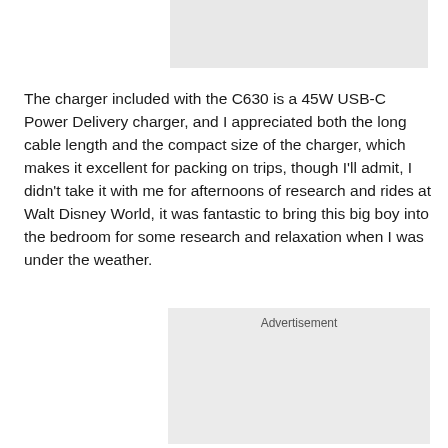[Figure (other): Gray advertisement banner placeholder at top]
The charger included with the C630 is a 45W USB-C Power Delivery charger, and I appreciated both the long cable length and the compact size of the charger, which makes it excellent for packing on trips, though I'll admit, I didn't take it with me for afternoons of research and rides at Walt Disney World, it was fantastic to bring this big boy into the bedroom for some research and relaxation when I was under the weather.
[Figure (other): Gray advertisement banner placeholder at bottom with 'Advertisement' label]